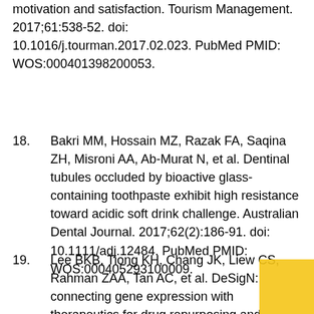motivation and satisfaction. Tourism Management. 2017;61:538-52. doi: 10.1016/j.tourman.2017.02.023. PubMed PMID: WOS:000401398200053.
18.    Bakri MM, Hossain MZ, Razak FA, Saqina ZH, Misroni AA, Ab-Murat N, et al. Dentinal tubules occluded by bioactive glass-containing toothpaste exhibit high resistance toward acidic soft drink challenge. Australian Dental Journal. 2017;62(2):186-91. doi: 10.1111/adj.12484. PubMed PMID: WOS:000405293100009.
19.    Lee BKB, Tiong KH, Chang JK, Liew CS, Rahman ZAA, Tan AC, et al. DeSigN: connecting gene expression with therapeutics for drug repurposing and development. BMC Genomics. 2017;18:11. doi: 10.1186/s12864-016-3360-7.